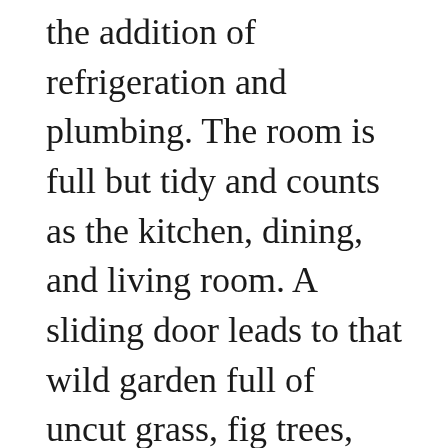the addition of refrigeration and plumbing. The room is full but tidy and counts as the kitchen, dining, and living room. A sliding door leads to that wild garden full of uncut grass, fig trees, and a vegetable patch. But the home's pièce de résistance is the enormous fireplace, which opens on two sides, at least five feet